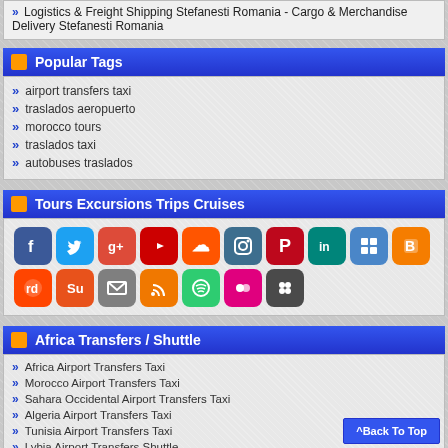» Logistics & Freight Shipping Stefanesti Romania - Cargo & Merchandise Delivery Stefanesti Romania
Popular Tags
airport transfers taxi
traslados aeropuerto
morocco tours
traslados taxi
autobuses traslados
Tours Excursions Trips Cruises
[Figure (infographic): Grid of social media icons: Facebook, Twitter, Google+, YouTube, SoundCloud, Instagram, Pinterest, LinkedIn, Delicious, Blogger (top row); Reddit, StumbleUpon, Email, RSS, Spotify, Flickr, Google (bottom row)]
Africa Transfers / Shuttle
Africa Airport Transfers Taxi
Morocco Airport Transfers Taxi
Sahara Occidental Airport Transfers Taxi
Algeria Airport Transfers Taxi
Tunisia Airport Transfers Taxi
Lybia Airport Transfers Shuttle
Egypt Airport Transfers Taxi
^Back To Top